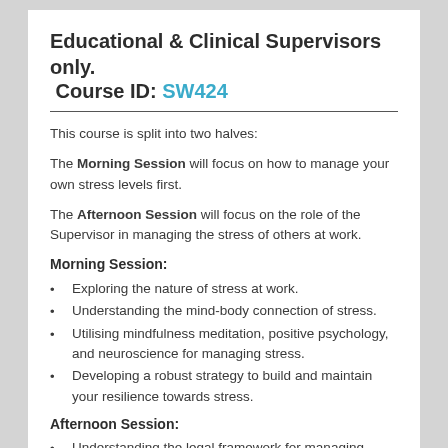Educational & Clinical Supervisors only. Course ID: SW424
This course is split into two halves:
The Morning Session will focus on how to manage your own stress levels first.
The Afternoon Session will focus on the role of the Supervisor in managing the stress of others at work.
Morning Session:
Exploring the nature of stress at work.
Understanding the mind-body connection of stress.
Utilising mindfulness meditation, positive psychology, and neuroscience for managing stress.
Developing a robust strategy to build and maintain your resilience towards stress.
Afternoon Session:
Understanding the legal framework for managing stress at work.